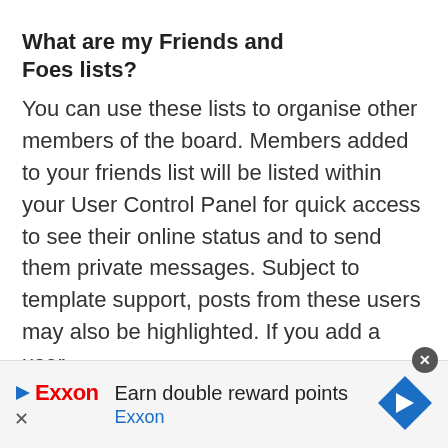What are my Friends and Foes lists?
You can use these lists to organise other members of the board. Members added to your friends list will be listed within your User Control Panel for quick access to see their online status and to send them private messages. Subject to template support, posts from these users may also be highlighted. If you add a user
[Figure (other): Exxon advertisement banner: 'Earn double reward points' with Exxon logo and blue diamond arrow icon]